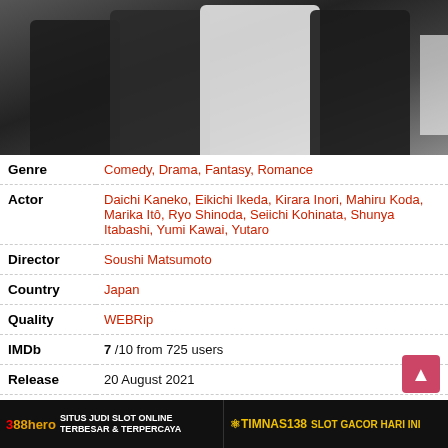[Figure (photo): Dark scene with several people in dark suits/clothing, blurry style]
| Genre | Comedy, Drama, Fantasy, Romance |
| Actor | Daichi Kaneko, Eikichi Ikeda, Kirara Inori, Mahiru Koda, Marika Itô, Ryo Shinoda, Seiichi Kohinata, Shunya Itabashi, Yumi Kawai, Yutaro |
| Director | Soushi Matsumoto |
| Country | Japan |
| Quality | WEBRip |
| IMDb | 7 /10 from 725 users |
| Release | 20 August 2021 |
| Duration | 1 jam 37 menit |
CLOSE
388hero SITUS JUDI SLOT ONLINE TERBESAR & TERPERCAYA
TIMNAS138 SLOT GACOR HARI INI